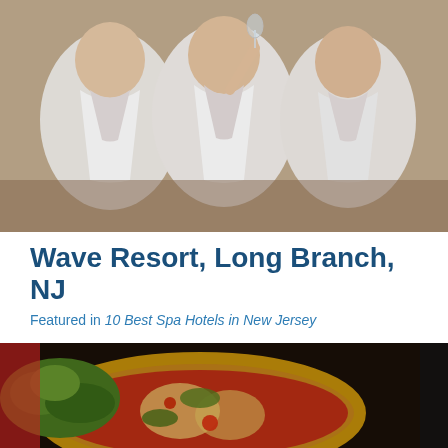[Figure (photo): Three women in white spa robes sitting together, one holding a champagne glass]
Wave Resort, Long Branch, NJ
Featured in 10 Best Spa Hotels in New Jersey
Need to lounge by the ocean and take a break from life for a moment? You can do just that at the Wave Resort. This upscale oceanside resort is full of incredible amenities to make your getaway a… Read More
[Figure (photo): Food spread with salad and dishes on a table, partial view]